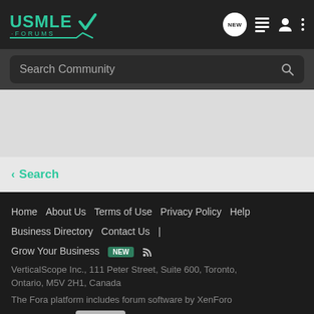[Figure (logo): USMLE Forums logo with teal text and checkmark]
Search Community
< Search
Home   About Us   Terms of Use   Privacy Policy   Help   Business Directory   Contact Us   |   Grow Your Business   NEW   (rss icon)
VerticalScope Inc., 111 Peter Street, Suite 600, Toronto, Ontario, M5V 2H1, Canada
The Fora platform includes forum software by XenForo
[Figure (logo): Fora logo with grey icon]
[Figure (logo): BBB Accredited Business badge]